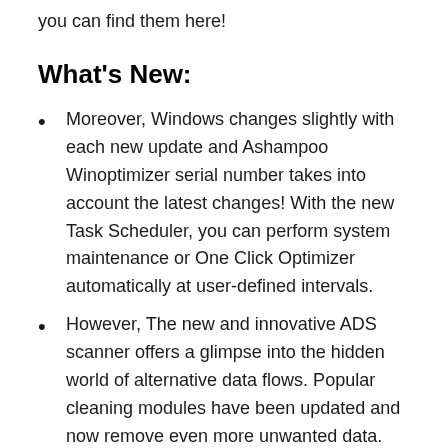you can find them here!
What's New:
Moreover, Windows changes slightly with each new update and Ashampoo Winoptimizer serial number takes into account the latest changes! With the new Task Scheduler, you can perform system maintenance or One Click Optimizer automatically at user-defined intervals.
However, The new and innovative ADS scanner offers a glimpse into the hidden world of alternative data flows. Popular cleaning modules have been updated and now remove even more unwanted data.
Therefore, Check for duplicate...